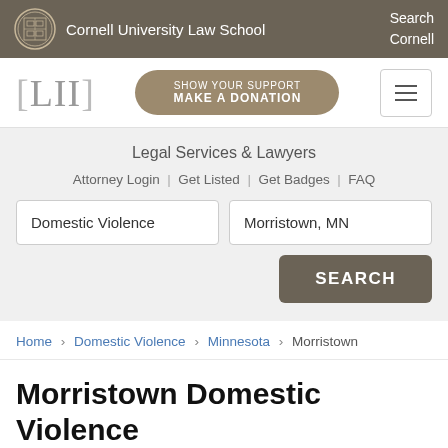Cornell University Law School | Search Cornell
[Figure (logo): LII Legal Information Institute logo with [LII] bracket text and Show Your Support Make A Donation button]
Legal Services & Lawyers
Attorney Login | Get Listed | Get Badges | FAQ
Search form: Domestic Violence | Morristown, MN | SEARCH button
Home › Domestic Violence › Minnesota › Morristown
Morristown Domestic Violence